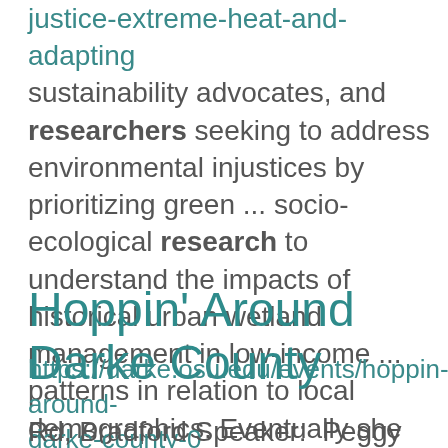justice-extreme-heat-and-adapting sustainability advocates, and researchers seeking to address environmental injustices by prioritizing green ... socio-ecological research to understand the impacts of historical urban wetland management in low-income ... patterns in relation to local demographics. Eventually she carried her research to study communities and ...
Hoppin' Around Darke County
https://darke.osu.edu/events/hoppin-around-darke-county-0
Rd, Bradford Speaker: Peggy Hall- Ag